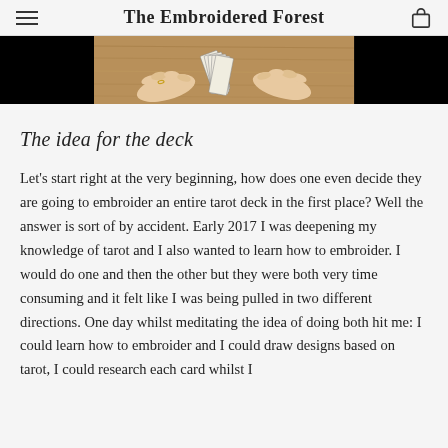The Embroidered Forest
[Figure (photo): Hands holding or shuffling tarot cards on a wooden table surface, viewed from above. The image has black bars on either side framing the photo.]
The idea for the deck
Let’s start right at the very beginning, how does one even decide they are going to embroider an entire tarot deck in the first place? Well the answer is sort of by accident. Early 2017 I was deepening my knowledge of tarot and I also wanted to learn how to embroider. I would do one and then the other but they were both very time consuming and it felt like I was being pulled in two different directions. One day whilst meditating the idea of doing both hit me: I could learn how to embroider and I could draw designs based on tarot, I could research each card whilst I